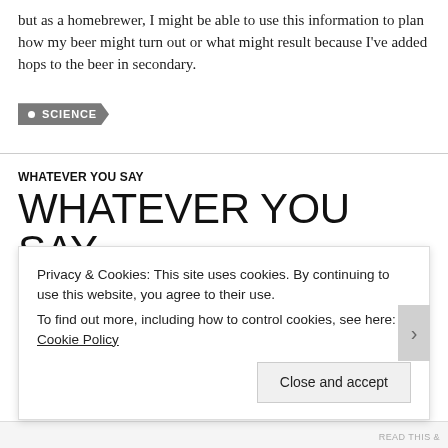but as a homebrewer, I might be able to use this information to plan how my beer might turn out or what might result because I've added hops to the beer in secondary.
• SCIENCE
WHATEVER YOU SAY
WHATEVER YOU SAY
(A) SECOND PINT UNICEF
Privacy & Cookies: This site uses cookies. By continuing to use this website, you agree to their use.
To find out more, including how to control cookies, see here: Cookie Policy
Close and accept